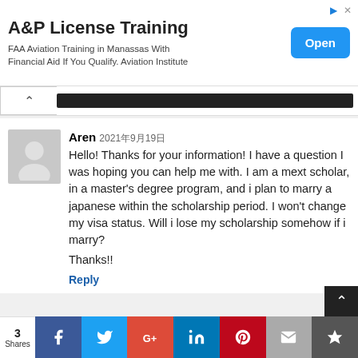[Figure (other): Advertisement banner: A&P License Training. FAA Aviation Training in Manassas With Financial Aid If You Qualify. Aviation Institute. Blue Open button.]
Aren 2021年9月19日
Hello! Thanks for your information! I have a question I was hoping you can help me with. I am a mext scholar, in a master's degree program, and i plan to marry a japanese within the scholarship period. I won't change my visa status. Will i lose my scholarship somehow if i marry?

Thanks!!
Reply
[Figure (other): Social share bar with counts: 3 Shares. Buttons: Facebook, Twitter, Google+, LinkedIn, Pinterest, Email, Crown/bookmark.]